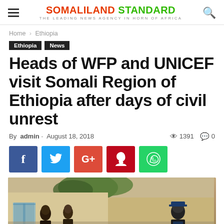SOMALILAND STANDARD – THE LEADING NEWS AGENCY IN HORN OF AFRICA
Home › Ethiopia
Ethiopia
News
Heads of WFP and UNICEF visit Somali Region of Ethiopia after days of civil unrest
By admin - August 18, 2018  👁 1391  💬 0
[Figure (infographic): Social sharing buttons: Facebook, Twitter, Google+, Pinterest, WhatsApp]
[Figure (photo): People standing outside a building in the Somali Region of Ethiopia]